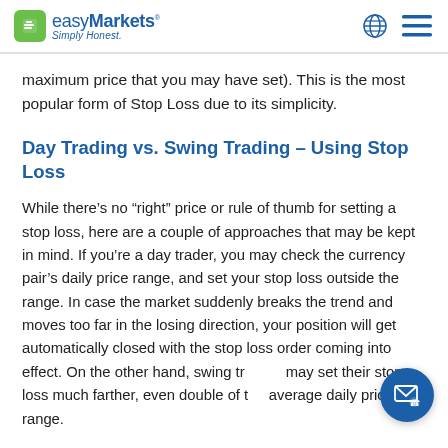easyMarkets Simply Honest.
maximum price that you may have set). This is the most popular form of Stop Loss due to its simplicity.
Day Trading vs. Swing Trading – Using Stop Loss
While there's no “right” price or rule of thumb for setting a stop loss, here are a couple of approaches that may be kept in mind. If you're a day trader, you may check the currency pair's daily price range, and set your stop loss outside the range. In case the market suddenly breaks the trend and moves too far in the losing direction, your position will get automatically closed with the stop loss order coming into effect. On the other hand, swing traders may set their stop loss much farther, even double of the average daily price range.